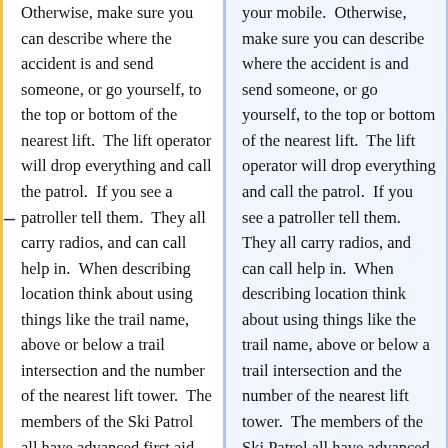Otherwise, make sure you can describe where the accident is and send someone, or go yourself, to the top or bottom of the nearest lift.  The lift operator will drop everything and call the patrol.  If you see a patroller tell them.  They all carry radios, and can call help in.  When describing location think about using things like the trail name, above or below a trail intersection and the number of the nearest lift tower.  The members of the Ski Patrol all have advanced first aid training.  Some have para-medic skills, and if you are really lucky there are sometimes doctors on the
your mobile.  Otherwise, make sure you can describe where the accident is and send someone, or go yourself, to the top or bottom of the nearest lift.  The lift operator will drop everything and call the patrol.  If you see a patroller tell them.  They all carry radios, and can call help in.  When describing location think about using things like the trail name, above or below a trail intersection and the number of the nearest lift tower.  The members of the Ski Patrol all have advanced first aid training.  Some have para-medic skills, and if you are really lucky there are